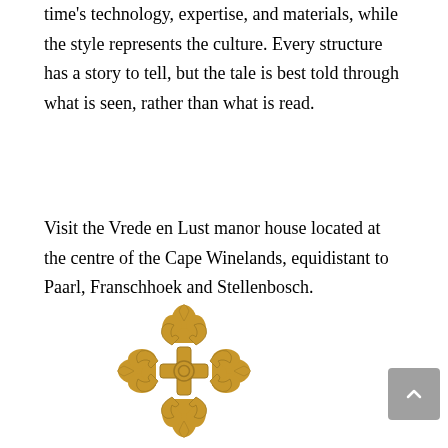time's technology, expertise, and materials, while the style represents the culture. Every structure has a story to tell, but the tale is best told through what is seen, rather than what is read.
Visit the Vrede en Lust manor house located at the centre of the Cape Winelands, equidistant to Paarl, Franschhoek and Stellenbosch.
[Figure (logo): Gold fleur-de-lis style ornamental cross logo]